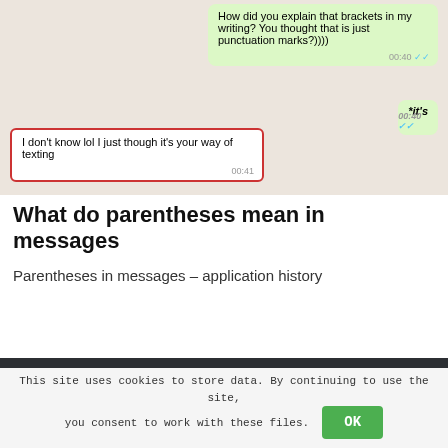[Figure (screenshot): WhatsApp chat screenshot showing sent message 'How did you explain that brackets in my writing? You thought that is just punctuation marks?))))' at 00:40, a correction '*it's' at 00:40, and a received message outlined in red 'I don't know lol I just though it's your way of texting' at 00:41.]
What do parentheses mean in messages
Parentheses in messages – application history
This site uses cookies to store data. By continuing to use the site, you consent to work with these files.